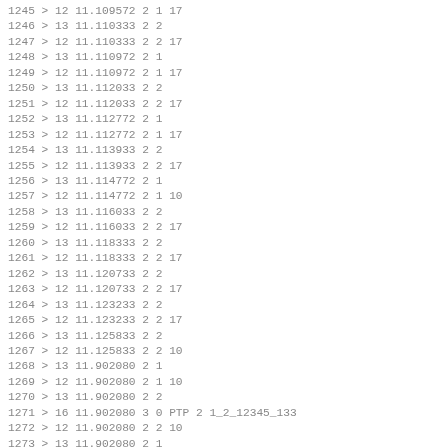1245 > 12 11.109572 2 1 17
1246 > 13 11.110333 2 2
1247 > 12 11.110333 2 2 17
1248 > 13 11.110972 2 1
1249 > 12 11.110972 2 1 17
1250 > 13 11.112033 2 2
1251 > 12 11.112033 2 2 17
1252 > 13 11.112772 2 1
1253 > 12 11.112772 2 1 17
1254 > 13 11.113933 2 2
1255 > 12 11.113933 2 2 17
1256 > 13 11.114772 2 1
1257 > 12 11.114772 2 1 10
1258 > 13 11.116033 2 2
1259 > 12 11.116033 2 2 17
1260 > 13 11.118333 2 2
1261 > 12 11.118333 2 2 17
1262 > 13 11.120733 2 2
1263 > 12 11.120733 2 2 17
1264 > 13 11.123233 2 2
1265 > 12 11.123233 2 2 17
1266 > 13 11.125833 2 2
1267 > 12 11.125833 2 2 10
1268 > 13 11.902080 2 1
1269 > 12 11.902080 2 1 10
1270 > 13 11.902080 2 2
1271 > 16 11.902080 3 0 PTP 2 1_2_12345_133
1272 > 12 11.902080 2 2 10
1273 > 13 11.902080 2 1
1274 > 12 11.902080 2 1 10
1275 > 13 11.902080 2 2
1276 > 16 11.902080 3 0 PTP 2 1_2_12345_134
1277 > 12 11.902080 2 2 10